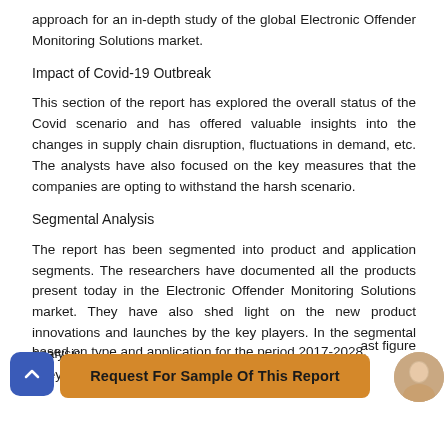approach for an in-depth study of the global Electronic Offender Monitoring Solutions market.
Impact of Covid-19 Outbreak
This section of the report has explored the overall status of the Covid scenario and has offered valuable insights into the changes in supply chain disruption, fluctuations in demand, etc. The analysts have also focused on the key measures that the companies are opting to withstand the harsh scenario.
Segmental Analysis
The report has been segmented into product and application segments. The researchers have documented all the products present today in the Electronic Offender Monitoring Solutions market. They have also shed light on the new product innovations and launches by the key players. In the segmental analysis,
ast figure
based on type and application for the period 2017-2028.
They have also discussed about the growth rate and